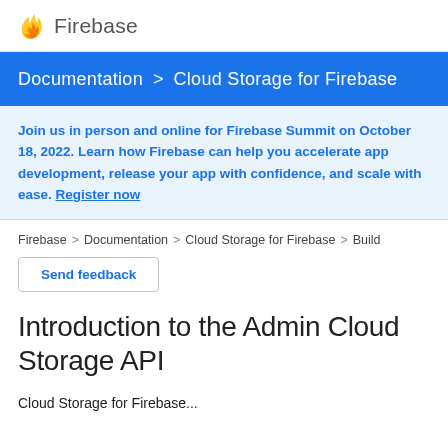Firebase
Documentation > Cloud Storage for Firebase
Join us in person and online for Firebase Summit on October 18, 2022. Learn how Firebase can help you accelerate app development, release your app with confidence, and scale with ease. Register now
Firebase > Documentation > Cloud Storage for Firebase > Build
Send feedback
Introduction to the Admin Cloud Storage API
Cloud Storage for Firebase...